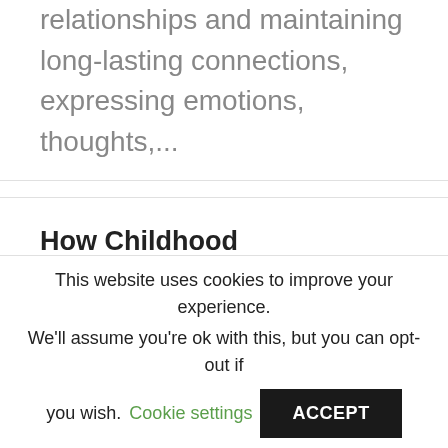attachment, forming relationships and maintaining long-lasting connections, expressing emotions, thoughts,...
How Childhood Abandonment Trauma Affects Attachment Styles in Adults. Best Online Attachment and Trauma Therapy.
This website uses cookies to improve your experience. We'll assume you're ok with this, but you can opt-out if you wish. Cookie settings ACCEPT